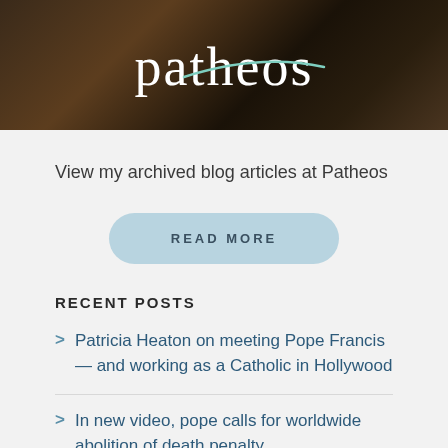[Figure (logo): Patheos website banner/logo with dark brown background and white 'patheos' text with teal swoosh accent]
View my archived blog articles at Patheos
READ MORE
RECENT POSTS
> Patricia Heaton on meeting Pope Francis — and working as a Catholic in Hollywood
> In new video, pope calls for worldwide abolition of death penalty